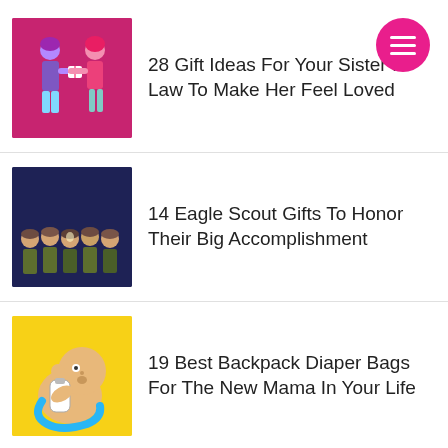[Figure (illustration): Pink/magenta background with two illustrated female figures exchanging a gift]
28 Gift Ideas For Your Sister In Law To Make Her Feel Loved
[Figure (illustration): Dark navy background with illustrated Eagle Scout children in uniform]
14 Eagle Scout Gifts To Honor Their Big Accomplishment
[Figure (illustration): Yellow background with illustrated baby holding a bottle]
19 Best Backpack Diaper Bags For The New Mama In Your Life